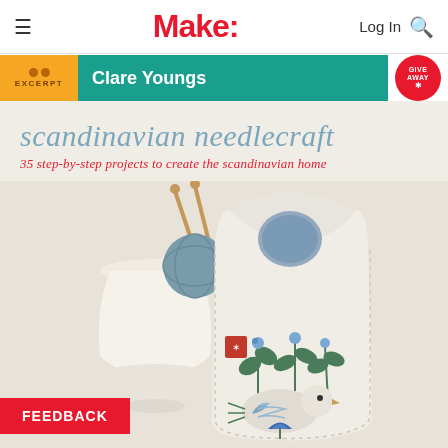Make:
Clare Youngs
scandinavian needlecraft
35 step-by-step projects to create the scandinavian home
[Figure (photo): Book cover of 'Scandinavian Needlecraft' by Clare Youngs showing an embroidered fabric bird pillow/bag with floral motifs, knitting needles, and a ceramic vase in background]
FEEDBACK